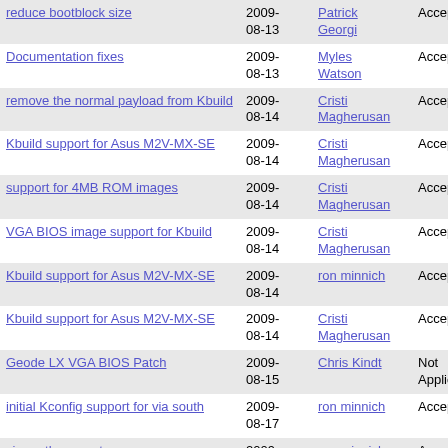| Title | Date | Author | Status |
| --- | --- | --- | --- |
| reduce bootblock size | 2009-08-13 | Patrick Georgi | Accep |
| Documentation fixes | 2009-08-13 | Myles Watson | Accep |
| remove the normal payload from Kbuild | 2009-08-14 | Cristi Magherusan | Accep |
| Kbuild support for Asus M2V-MX-SE | 2009-08-14 | Cristi Magherusan | Accep |
| support for 4MB ROM images | 2009-08-14 | Cristi Magherusan | Accep |
| VGA BIOS image support for Kbuild | 2009-08-14 | Cristi Magherusan | Accep |
| Kbuild support for Asus M2V-MX-SE | 2009-08-14 | ron minnich | Accep |
| Kbuild support for Asus M2V-MX-SE | 2009-08-14 | Cristi Magherusan | Accep |
| Geode LX VGA BIOS Patch | 2009-08-15 | Chris Kindt | Not Applic |
| initial Kconfig support for via south | 2009-08-17 | ron minnich | Accep |
| via north: correct some usage. | 2009-08-17 | ron minnich | Accep |
| cn400 Kconfig support | 2009-08-17 | ron minnich | Accep |
| :The Errata350 is fixed as the way it should be | 2009-08-19 | Bao, Zheng | Accep |
| Fix some of our boards | 2009-08-19 | Patrick Georgi | Accep |
| The resource allocator does | 2009-... | Patrick... |  |